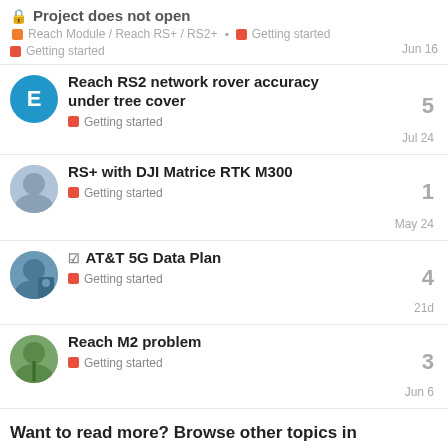Project does not open — Reach Module / Reach RS+ / RS2+ — Getting started — Getting started — Jun 16
Reach RS2 network rover accuracy under tree cover — Getting started — 5 replies — Jul 24
RS+ with DJI Matrice RTK M300 — Getting started — 1 reply — May 24
AT&T 5G Data Plan — Getting started — 4 replies — 21d
Reach M2 problem — Getting started — 3 replies — Jun 6
Want to read more? Browse other topics in Getting started or view latest topics.